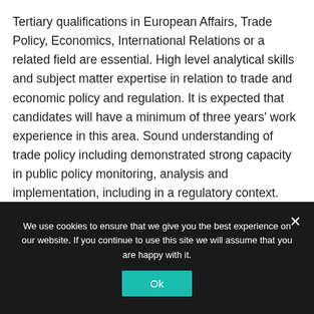Tertiary qualifications in European Affairs, Trade Policy, Economics, International Relations or a related field are essential. High level analytical skills and subject matter expertise in relation to trade and economic policy and regulation. It is expected that candidates will have a minimum of three years' work experience in this area. Sound understanding of trade policy including demonstrated strong capacity in public policy monitoring, analysis and implementation, including in a regulatory context.
We use cookies to ensure that we give you the best experience on our website. If you continue to use this site we will assume that you are happy with it.